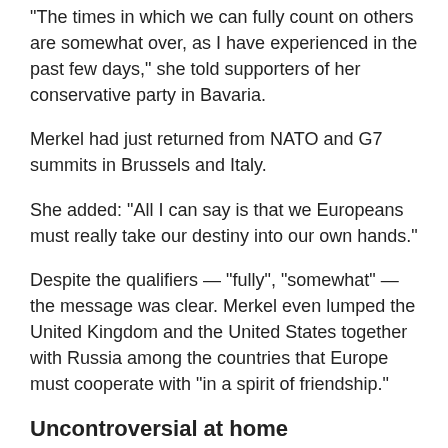“The times in which we can fully count on others are somewhat over, as I have experienced in the past few days,” she told supporters of her conservative party in Bavaria.
Merkel had just returned from NATO and G7 summits in Brussels and Italy.
She added: “All I can say is that we Europeans must really take our destiny into our own hands.”
Despite the qualifiers — “fully”, “somewhat” — the message was clear. Merkel even lumped the United Kingdom and the United States together with Russia among the countries that Europe must cooperate with “in a spirit of friendship.”
Uncontroversial at home
The remarks were uncontroversial in Germany, as one